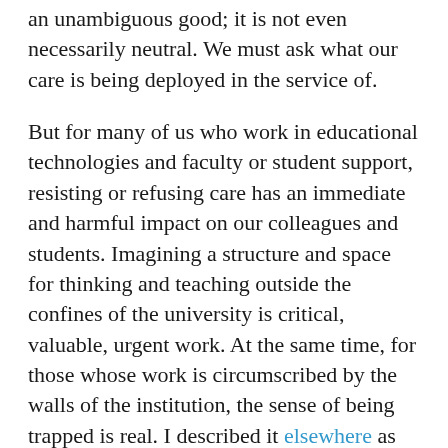an unambiguous good; it is not even necessarily neutral. We must ask what our care is being deployed in the service of.
But for many of us who work in educational technologies and faculty or student support, resisting or refusing care has an immediate and harmful impact on our colleagues and students. Imagining a structure and space for thinking and teaching outside the confines of the university is critical, valuable, urgent work. At the same time, for those whose work is circumscribed by the walls of the institution, the sense of being trapped is real. I described it elsewhere as feeling caught in a Samuel Beckett story: I can't go on (I know my care is being exploited by my